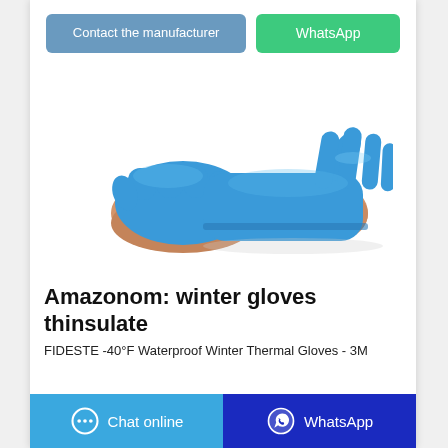Contact the manufacturer
WhatsApp
[Figure (photo): Two hands wearing blue nitrile/rubber gloves on white background — one hand pulling a glove onto the other wrist]
Amazonom: winter gloves thinsulate
FIDESTE -40°F Waterproof Winter Thermal Gloves - 3M
Chat online
WhatsApp